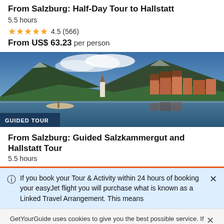From Salzburg: Half-Day Tour to Hallstatt
5.5 hours
4.5 (566)
From US$ 63.23 per person
[Figure (photo): Scenic photo of Hallstatt village with lake reflection, mountains, and church steeple. Badge reads GUIDED TOUR.]
From Salzburg: Guided Salzkammergut and Hallstatt Tour
5.5 hours
If you book your Tour & Activity within 24 hours of booking your easyJet flight you will purchase what is known as a Linked Travel Arrangement. This means
GetYourGuide uses cookies to give you the best possible service. If you continue browsing, you agree to the use of cookies. More details can be found in our privacy policy.